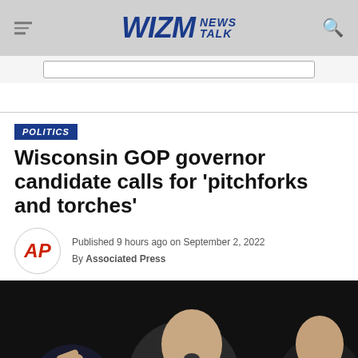WIZM NEWS TALK
POLITICS
Wisconsin GOP governor candidate calls for 'pitchforks and torches'
Published 9 hours ago on September 2, 2022
By Associated Press
[Figure (photo): A man in a suit speaking passionately at a microphone against a dark background, with another person visible to the right.]